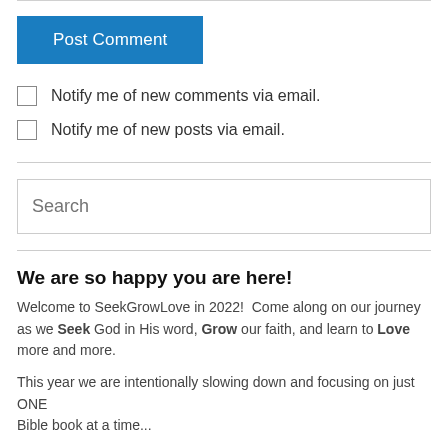[Figure (other): Blue 'Post Comment' button]
Notify me of new comments via email.
Notify me of new posts via email.
[Figure (other): Search input field with placeholder text 'Search']
We are so happy you are here!
Welcome to SeekGrowLove in 2022!  Come along on our journey as we Seek God in His word, Grow our faith, and learn to Love more and more.
This year we are intentionally slowing down and focusing on just ONE Bible book at a time...